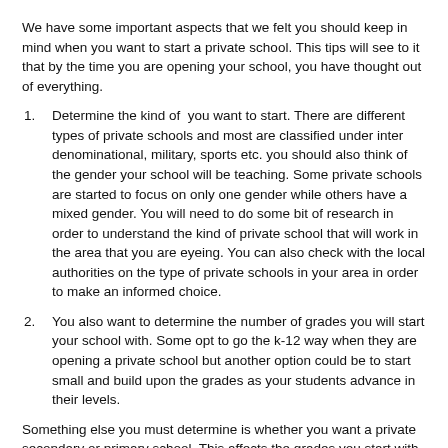We have some important aspects that we felt you should keep in mind when you want to start a private school. This tips will see to it that by the time you are opening your school, you have thought out of everything.
1.    Determine the kind of  you want to start. There are different types of private schools and most are classified under inter denominational, military, sports etc. you should also think of the gender your school will be teaching. Some private schools are started to focus on only one gender while others have a mixed gender. You will need to do some bit of research in order to understand the kind of private school that will work in the area that you are eyeing. You can also check with the local authorities on the type of private schools in your area in order to make an informed choice.
2.    You also want to determine the number of grades you will start your school with. Some opt to go the k-12 way when they are opening a private school but another option could be to start small and build upon the grades as your students advance in their levels.
Something else you must determine is whether you want a private secondary or primary school. This affects the grades you start with and therefore can?t be ignored.
3.    You must look into the curriculum or syllables that you want your private school to teach. You can check with approved agencies on the curriculum you can use and then figure out the best way to start your school with it.